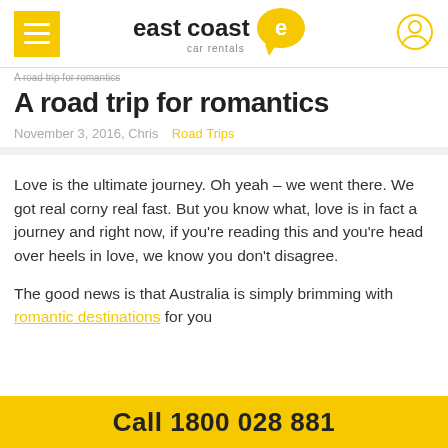eastcoast car rentals
A road trip for romantics
A road trip for romantics
November 3, 2016, Chris  Road Trips
Love is the ultimate journey. Oh yeah – we went there. We got real corny real fast. But you know what, love is in fact a journey and right now, if you're reading this and you're head over heels in love, we know you don't disagree.
The good news is that Australia is simply brimming with romantic destinations for you
Call 1800 028 881